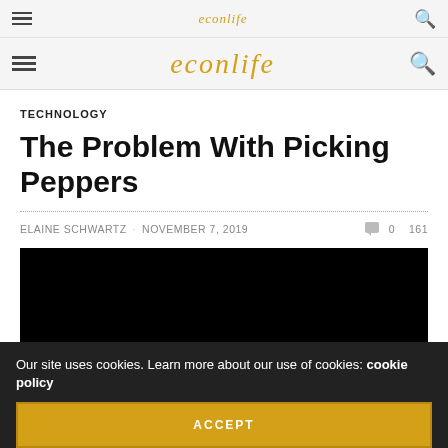econlife
econlife
TECHNOLOGY
The Problem With Picking Peppers
ELAINE SCHWARTZ · NOVEMBER 7, 2019   0  161
[Figure (photo): Black rectangular image placeholder for article media]
Our site uses cookies. Learn more about our use of cookies: cookie policy
ACCEPT